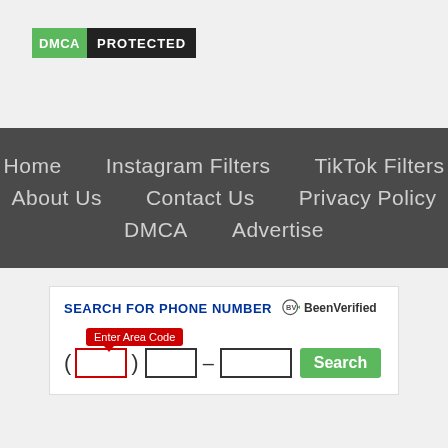[Figure (logo): DMCA Protected badge with green DMCA label and black PROTECTED label]
Home    Instagram Filters    TikTok Filters    About Us    Contact Us    Privacy Policy    DMCA    Advertise
[Figure (infographic): Search for Phone Number widget with BeenVerified logo, area code tooltip, phone number inputs and Search button]